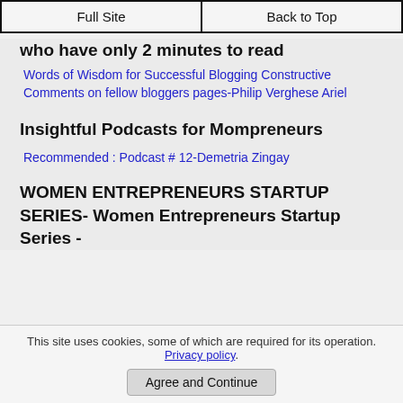Full Site | Back to Top
who have only 2 minutes to read
Words of Wisdom for Successful Blogging Constructive Comments on fellow bloggers pages-Philip Verghese Ariel
Insightful Podcasts for Mompreneurs
Recommended : Podcast # 12-Demetria Zingay
WOMEN ENTREPRENEURS STARTUP SERIES- Women Entrepreneurs Startup Series -
This site uses cookies, some of which are required for its operation. Privacy policy.
Agree and Continue